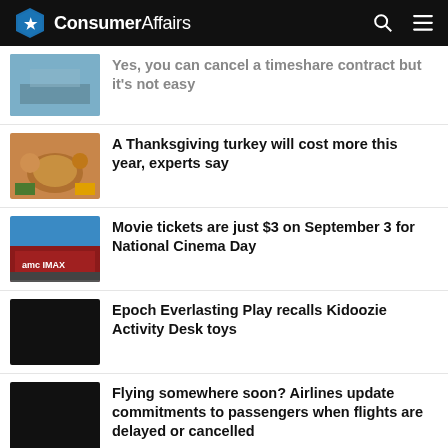ConsumerAffairs
Yes, you can cancel a timeshare contract but it's not easy
A Thanksgiving turkey will cost more this year, experts say
Movie tickets are just $3 on September 3 for National Cinema Day
Epoch Everlasting Play recalls Kidoozie Activity Desk toys
Flying somewhere soon? Airlines update commitments to passengers when flights are delayed or cancelled
Sam's Club raising its membership fee for the first time in nine years